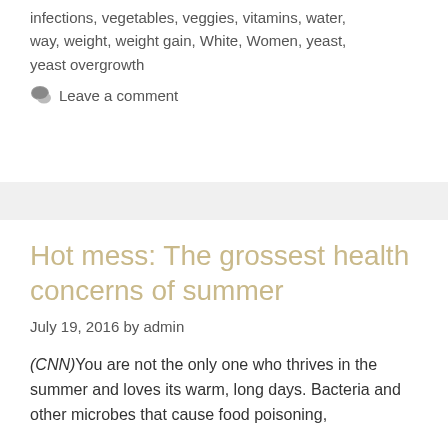infections, vegetables, veggies, vitamins, water, way, weight, weight gain, White, Women, yeast, yeast overgrowth
💬 Leave a comment
Hot mess: The grossest health concerns of summer
July 19, 2016 by admin
(CNN)You are not the only one who thrives in the summer and loves its warm, long days. Bacteria and other microbes that cause food poisoning,